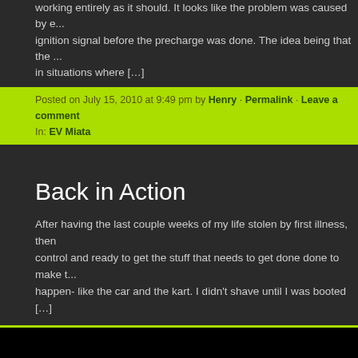working entirely as it should. It looks like the problem was caused by e... ignition signal before the precharge was done. The idea being that the ... in situations where […]
Posted on July 15, 2010 at 9:49 pm by Henry · Permalink · Leave a comment In: EV Miata
Back in Action
After having the last couple weeks of my life stolen by first illness, then ... control and ready to get the stuff that needs to get done done to make t... happen- like the car and the kart. I didn't shave until I was booted […]
Posted on July 10, 2010 at 12:48 am by Henry · Permalink · 3 Comments In: Battery Regulator, EV Miata, Life and Times